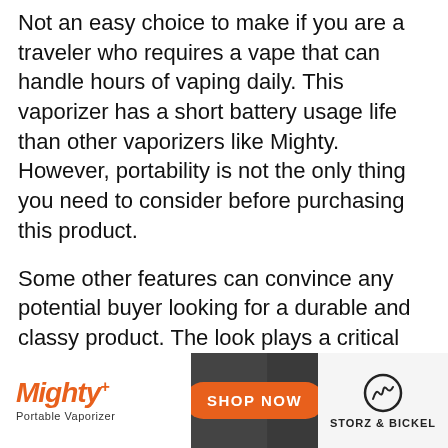Not an easy choice to make if you are a traveler who requires a vape that can handle hours of vaping daily. This vaporizer has a short battery usage life than other vaporizers like Mighty. However, portability is not the only thing you need to consider before purchasing this product.
Some other features can convince any potential buyer looking for a durable and classy product. The look plays a critical role in deciding the demand as most youngsters prefer a stylish device they can take to a party.
[Figure (other): Advertisement banner for Mighty+ Portable Vaporizer by Storz & Bickel with an orange SHOP NOW button and product image]